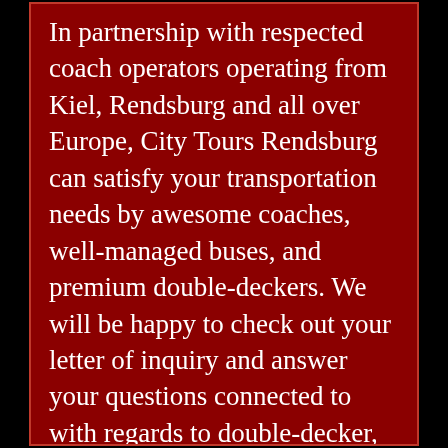In partnership with respected coach operators operating from Kiel, Rendsburg and all over Europe, City Tours Rendsburg can satisfy your transportation needs by awesome coaches, well-managed buses, and premium double-deckers. We will be happy to check out your letter of inquiry and answer your questions connected to with regards to double-decker, coach or bus reservation in Kiel and next to it.
If your group of travellers wants